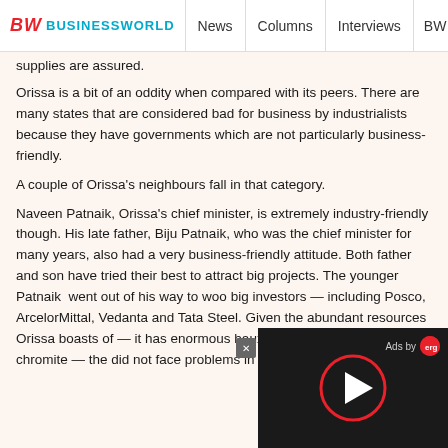BW BUSINESSWORLD | News | Columns | Interviews | BW
supplies are assured.
Orissa is a bit of an oddity when compared with its peers. There are many states that are considered bad for business by industrialists because they have governments which are not particularly business-friendly.
A couple of Orissa's neighbours fall in that category.
Naveen Patnaik, Orissa's chief minister, is extremely industry-friendly though. His late father, Biju Patnaik, who was the chief minister for many years, also had a very business-friendly attitude. Both father and son have tried their best to attract big projects. The younger Patnaik went out of his way to woo big investors — including Posco, ArcelorMittal, Vedanta and Tata Steel. Given the abundant resources Orissa boasts of — it has enormous bauxite, iron ore, coal and chromite — the did not face problems in signing MOUs with investors
[Figure (other): Ad overlay with play button and close button, 'Ads by' label with red icon]